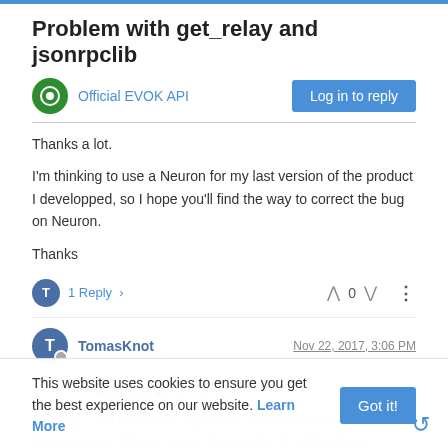Problem with get_relay and jsonrpclib
Official EVOK API
Thanks a lot.
I'm thinking to use a Neuron for my last version of the product I developped, so I hope you'll find the way to correct the bug on Neuron.
Thanks
1 Reply
TomasKnot  Nov 22, 2017, 3:06 PM
@Hen-Ri Glad you got it working!
The bug is not really very significant – basically some of the function use a different name. It's a matter of adding two li the code for each device type.
This website uses cookies to ensure you get the best experience on our website. Learn More